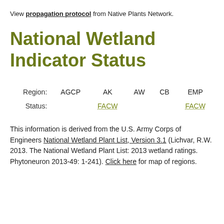View propagation protocol from Native Plants Network.
National Wetland Indicator Status
| Region: | AGCP | AK | AW | CB | EMP |
| --- | --- | --- | --- | --- | --- |
| Status: |  | FACW |  |  | FACW |
This information is derived from the U.S. Army Corps of Engineers National Wetland Plant List, Version 3.1 (Lichvar, R.W. 2013. The National Wetland Plant List: 2013 wetland ratings. Phytoneuron 2013-49: 1-241). Click here for map of regions.